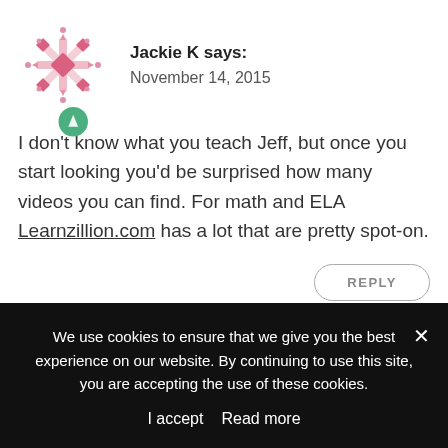[Figure (illustration): Pink decorative snowflake/geometric pattern avatar icon for user Jackie K]
Jackie K says:
November 14, 2015
I don't know what you teach Jeff, but once you start looking you'd be surprised how many videos you can find. For math and ELA Learnzillion.com has a lot that are pretty spot-on.
REPLY
[Figure (illustration): Partial green avatar icon for next commenter, cut off at bottom]
We use cookies to ensure that we give you the best experience on our website. By continuing to use this site, you are accepting the use of these cookies.
I accept   Read more